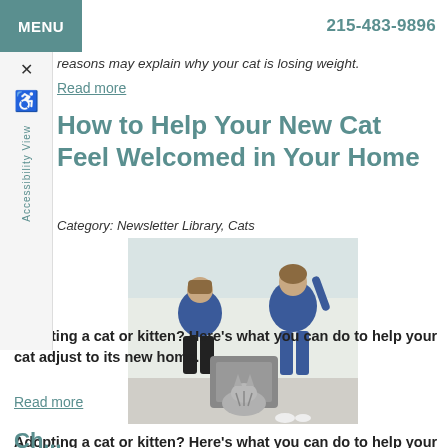MENU   215-483-9896
reasons may explain why your cat is losing weight.
Read more
How to Help Your New Cat Feel Welcomed in Your Home
Category: Newsletter Library, Cats
[Figure (photo): A boy and a woman sitting on the floor interacting with a cat near a carrier box]
Adopting a cat or kitten? Here's what you can do to help your cat adjust to its new home.
Read more
Ch...